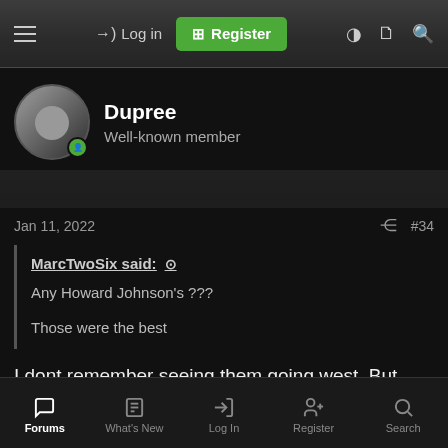Log in  Register
Dupree
Well-known member
Jan 11, 2022  #34
MarcTwoSix said: ↑
Any Howard Johnson's ???
Those were the best
I dont remember seeing them going west. But there
Forums  What's New  Log In  Register  Search